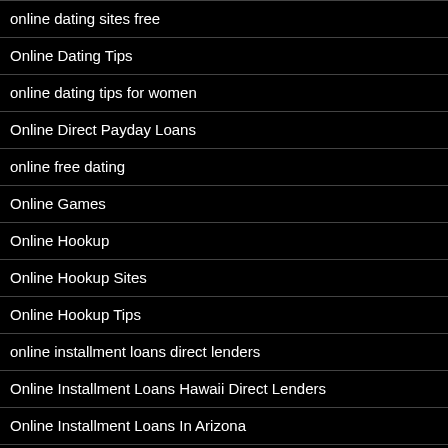online dating sites free
Online Dating Tips
online dating tips for women
Online Direct Payday Loans
online free dating
Online Games
Online Hookup
Online Hookup Sites
Online Hookup Tips
online installment loans direct lenders
Online Installment Loans Hawaii Direct Lenders
Online Installment Loans In Arizona
Online Installment Loans In Illinois